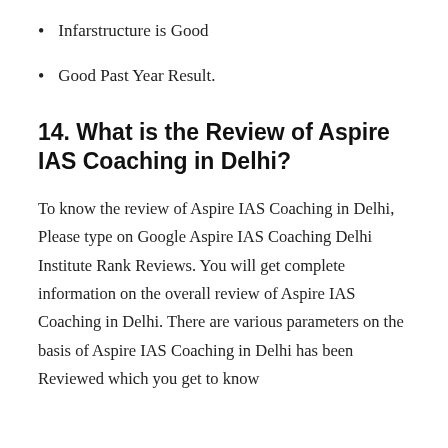Infarstructure is Good
Good Past Year Result.
14. What is the Review of Aspire IAS Coaching in Delhi?
To know the review of Aspire IAS Coaching in Delhi, Please type on Google Aspire IAS Coaching Delhi Institute Rank Reviews. You will get complete information on the overall review of Aspire IAS Coaching in Delhi. There are various parameters on the basis of Aspire IAS Coaching in Delhi has been Reviewed which you get to know